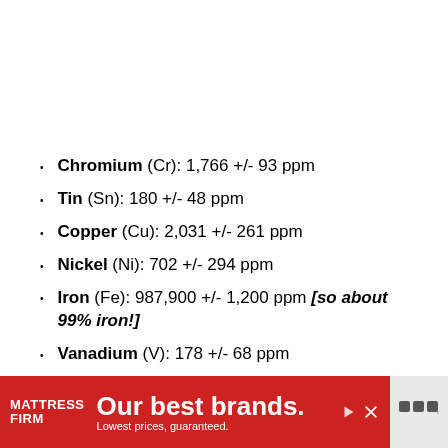Chromium (Cr): 1,766 +/- 93 ppm
Tin (Sn): 180 +/- 48 ppm
Copper (Cu): 2,031 +/- 261 ppm
Nickel (Ni): 702 +/- 294 ppm
Iron (Fe): 987,900 +/- 1,200 ppm [so about 99% iron!]
Vanadium (V): 178 +/- 68 ppm
Titanium (Ti): 322 +/- 98 ppm
[Figure (other): Advertisement banner for Mattress Firm: 'Our best brands. Lowest prices, guaranteed.']